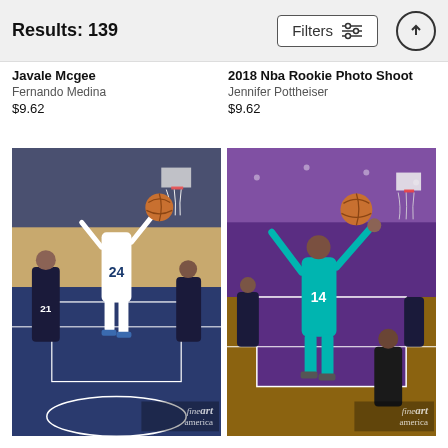Results: 139  Filters
Javale Mcgee
Fernando Medina
$9.62
2018 Nba Rookie Photo Shoot
Jennifer Pottheiser
$9.62
[Figure (photo): NBA basketball player wearing jersey number 24 going up for a layup against defenders in an indoor arena]
[Figure (photo): NBA basketball player wearing teal jersey number 14 going up for a shot near the basket on a purple court]